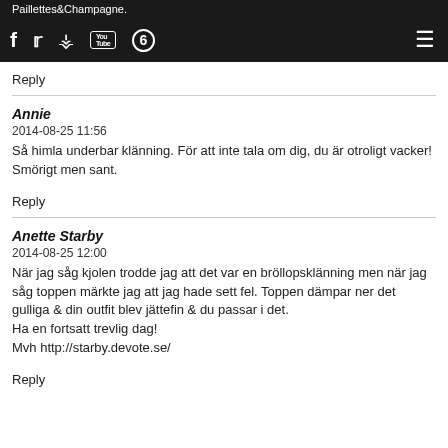Paillettes&Champagne. [social icons] [hamburger menu]
Reply
Annie
2014-08-25 11:56
Så himla underbar klänning. För att inte tala om dig, du är otroligt vacker! Smörigt men sant.
Reply
Anette Starby
2014-08-25 12:00
När jag såg kjolen trodde jag att det var en bröllopsklänning men när jag såg toppen märkte jag att jag hade sett fel. Toppen dämpar ner det gulliga & din outfit blev jättefin & du passar i det.
Ha en fortsatt trevlig dag!
Mvh http://starby.devote.se/
Reply